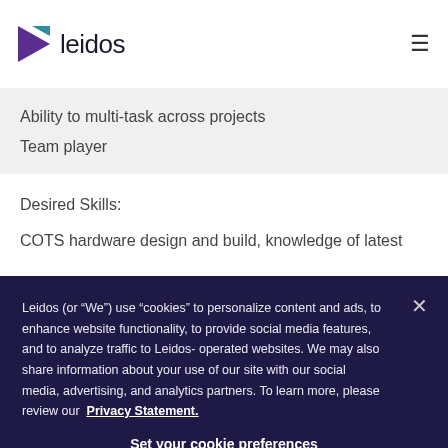[Figure (logo): Leidos logo with purple arrow/triangle icon and text 'leidos']
Ability to multi-task across projects
Team player
Desired Skills:
COTS hardware design and build, knowledge of latest
Leidos (or “We”) use “cookies” to personalize content and ads, to enhance website functionality, to provide social media features, and to analyze traffic to Leidos-operated websites. We may also share information about your use of our site with our social media, advertising, and analytics partners. To learn more, please review our Privacy Statement.
Set your cookie preferences